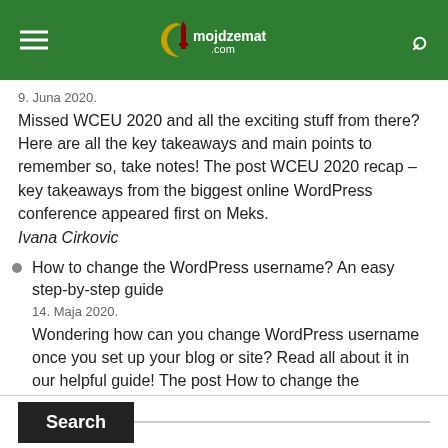mojdzemat.com
9. Juna 2020.
Missed WCEU 2020 and all the exciting stuff from there? Here are all the key takeaways and main points to remember so, take notes! The post WCEU 2020 recap – key takeaways from the biggest online WordPress conference appeared first on Meks.
Ivana Cirkovic
How to change the WordPress username? An easy step-by-step guide
14. Maja 2020.
Wondering how can you change WordPress username once you set up your blog or site? Read all about it in our helpful guide! The post How to change the WordPress username? An easy step-by-step guide appeared first on Meks.
Ivana Cirkovic
Search